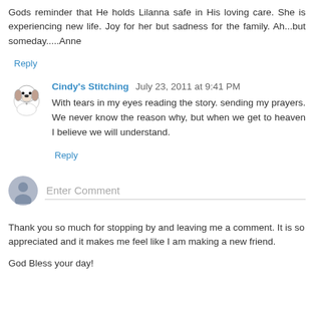Gods reminder that He holds Lilanna safe in His loving care. She is experiencing new life. Joy for her but sadness for the family. Ah...but someday.....Anne
Reply
Cindy's Stitching July 23, 2011 at 9:41 PM
With tears in my eyes reading the story. sending my prayers. We never know the reason why, but when we get to heaven I believe we will understand.
Reply
[Figure (illustration): Snoopy cartoon avatar image]
Enter Comment
Thank you so much for stopping by and leaving me a comment. It is so appreciated and it makes me feel like I am making a new friend.
God Bless your day!